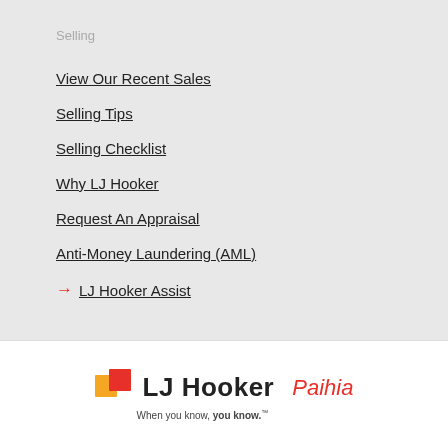Selling
View Our Recent Sales
Selling Tips
Selling Checklist
Why LJ Hooker
Request An Appraisal
Anti-Money Laundering (AML)
LJ Hooker Assist
[Figure (logo): LJ Hooker Paihia logo with tagline 'When you know, you know.']